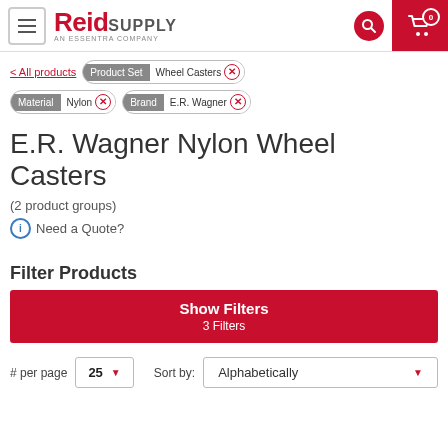Reid Supply – An Essentra Company
< All products | Product Set: Wheel Casters × | Material: Nylon × | Brand: E.R. Wagner ×
E.R. Wagner Nylon Wheel Casters
(2 product groups)
ⓘ Need a Quote?
Filter Products
Show Filters
3 Filters
# per page  25 ▼    Sort by:  Alphabetically ▼